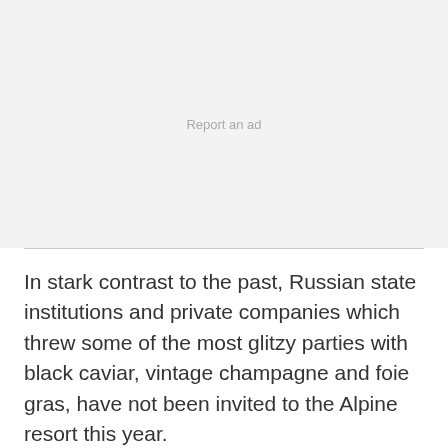Report an ad
In stark contrast to the past, Russian state institutions and private companies which threw some of the most glitzy parties with black caviar, vintage champagne and foie gras, have not been invited to the Alpine resort this year.
The former "Russia House", Moscow's base at Davos